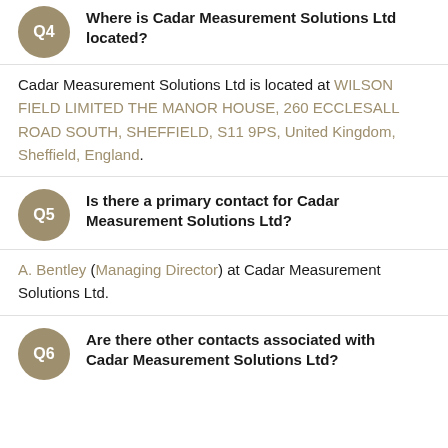Q4 Where is Cadar Measurement Solutions Ltd located?
Cadar Measurement Solutions Ltd is located at WILSON FIELD LIMITED THE MANOR HOUSE, 260 ECCLESALL ROAD SOUTH, SHEFFIELD, S11 9PS, United Kingdom, Sheffield, England.
Q5 Is there a primary contact for Cadar Measurement Solutions Ltd?
A. Bentley (Managing Director) at Cadar Measurement Solutions Ltd.
Q6 Are there other contacts associated with Cadar Measurement Solutions Ltd?